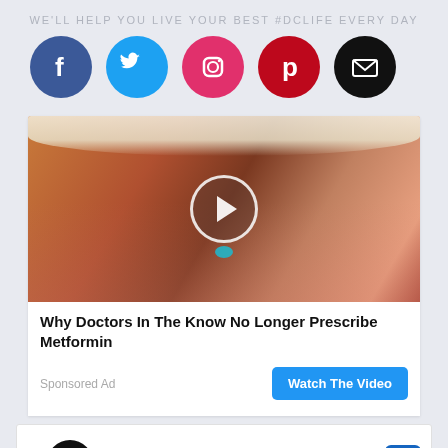WE'LL HELP YOU LIVE YOUR BEST #DCLIFE EVERY DAY
[Figure (infographic): Row of five social media icons: Facebook (blue circle, f), Twitter (light blue circle, bird), Instagram (pink circle, camera), Pinterest (dark red circle, p), Email (black circle, envelope)]
[Figure (photo): Close-up photo of a person's open mouth with tongue out and a small blue-green pill on the tongue, overlaid with a circular play button.]
Why Doctors In The Know No Longer Prescribe Metformin
Sponsored Ad
Watch The Video
Leesburg OPEN 10AM–9PM 241 Fort Evans Rd NE, Leesburg